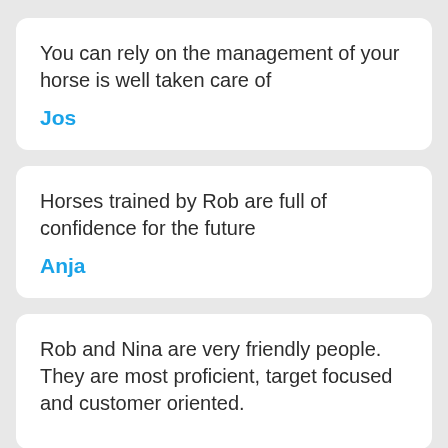You can rely on the management of your horse is well taken care of
Jos
Horses trained by Rob are full of confidence for the future
Anja
Rob and Nina are very friendly people. They are most proficient, target focused and customer oriented.